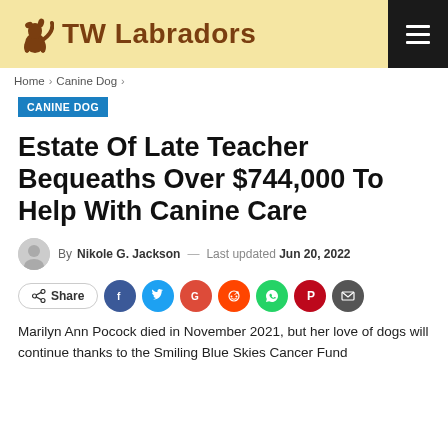TW Labradors
Home > Canine Dog >
CANINE DOG
Estate Of Late Teacher Bequeaths Over $744,000 To Help With Canine Care
By Nikole G. Jackson — Last updated Jun 20, 2022
Share
Marilyn Ann Pocock died in November 2021, but her love of dogs will continue thanks to the Smiling Blue Skies Cancer Fund